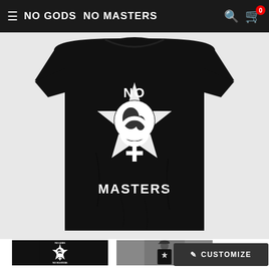NO GODS NO MASTERS
[Figure (photo): Black t-shirt with white 'No Gods No Masters' feminist globe and star design, shown as main large product photo]
[Figure (photo): Thumbnail 1: close-up of the No Gods No Masters graphic on black background]
[Figure (photo): Thumbnail 2: person wearing the black No Gods No Masters t-shirt outdoors]
✏ CUSTOMIZE